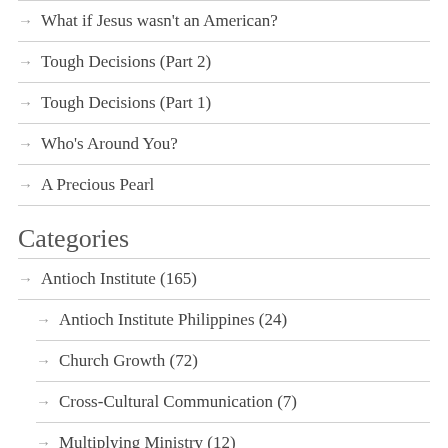What if Jesus wasn't an American?
Tough Decisions (Part 2)
Tough Decisions (Part 1)
Who's Around You?
A Precious Pearl
Categories
Antioch Institute (165)
Antioch Institute Philippines (24)
Church Growth (72)
Cross-Cultural Communication (7)
Multiplying Ministry (12)